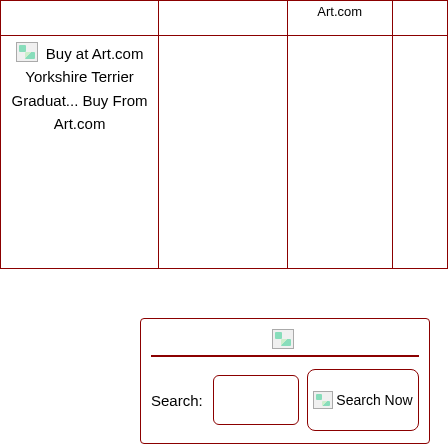|  |  | Art.com |  |
| --- | --- | --- | --- |
| [img] Buy at Art.com Yorkshire Terrier Graduat... Buy From Art.com |  |  |  |
[Figure (other): Search widget with broken image icon, horizontal divider, search label, text input box, and Search Now button with broken image icon]